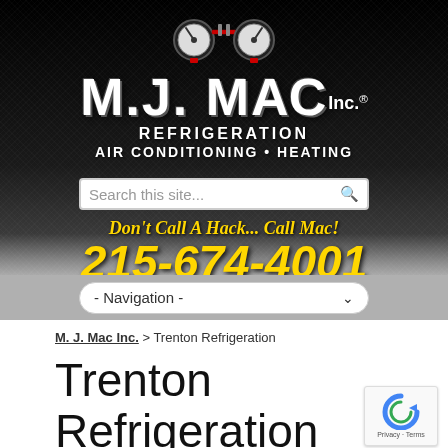[Figure (logo): M.J. Mac Inc. logo with gauge icons, white bold text on black background, showing company name]
REFRIGERATION
AIR CONDITIONING • HEATING
Search this site...
Don't Call A Hack... Call Mac!
215-674-4001
- Navigation -
M. J. Mac Inc. > Trenton Refrigeration
Trenton Refrigeration